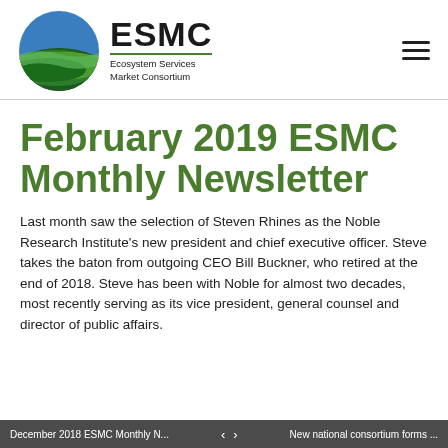ESMC Ecosystem Services Market Consortium
February 2019 ESMC Monthly Newsletter
Last month saw the selection of Steven Rhines as the Noble Research Institute's new president and chief executive officer. Steve takes the baton from outgoing CEO Bill Buckner, who retired at the end of 2018. Steve has been with Noble for almost two decades, most recently serving as its vice president, general counsel and director of public affairs.
December 2018 ESMC Monthly N... < > New national consortium forms ...